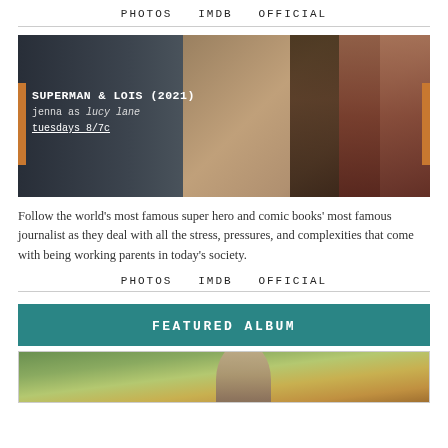PHOTOS  IMDB  OFFICIAL
[Figure (photo): Promotional photo for Superman & Lois (2021) showing actress Jenna as Lucy Lane against a blurred outdoor background. Orange accent bars on sides. Text overlay: SUPERMAN & LOIS (2021), jenna as lucy lane, tuesdays 8/7c]
Follow the world's most famous super hero and comic books' most famous journalist as they deal with all the stress, pressures, and complexities that come with being working parents in today's society.
PHOTOS  IMDB  OFFICIAL
FEATURED ALBUM
[Figure (photo): Partial photo visible at bottom of page, appears to show a person outdoors among plants/vegetation]